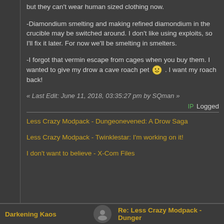but they can't wear human sized clothing now.
-Diamondium smelting and making refined diamondium in the crucible may be switched around. I don't like using exploits, so I'll fix it later. For now we'll be smelting in smelters.
-I forgot that vermin escape from cages when you buy them. I wanted to give my drow a cave roach pet. I want my roach back!
« Last Edit: June 11, 2018, 03:35:27 pm by SQman »
IP Logged
Less Crazy Modpack - Dungeonevened: A Drow Saga
Less Crazy Modpack - Twinklestar: I'm working on it!
I don't want to believe - X-Com Files
Darkening Kaos
Re: Less Crazy Modpack - Dunger